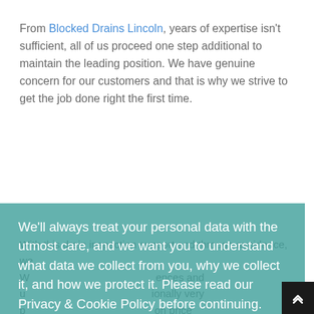From Blocked Drains Lincoln, years of expertise isn't sufficient, all of us proceed one step additional to maintain the leading position. We have genuine concern for our customers and that is why we strive to get the job done right the first time.
We'll always treat your personal data with the utmost care, and we want you to understand what data we collect from you, why we collect it, and how we protect it. Please read our Privacy & Cookie Policy before continuing.
Read Our Privacy and Cookie Policy
Decline
Accept